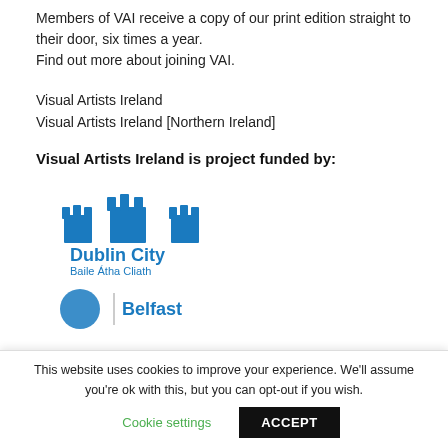Members of VAI receive a copy of our print edition straight to their door, six times a year. Find out more about joining VAI.
Visual Artists Ireland
Visual Artists Ireland [Northern Ireland]
Visual Artists Ireland is project funded by:
[Figure (logo): Dublin City / Baile Átha Cliath logo with blue castle/tower icons]
[Figure (logo): Partially visible Belfast City Council logo]
This website uses cookies to improve your experience. We'll assume you're ok with this, but you can opt-out if you wish.
Cookie settings | ACCEPT